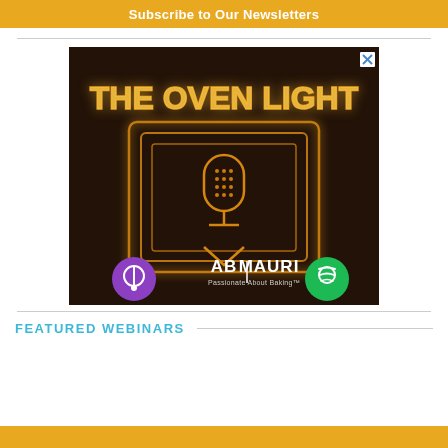Subscribe to Our Newsletters
[Figure (illustration): Advertisement for 'The Oven Light' podcast by AB Mauri. Dark background with neon orange/gold glowing text 'THE OVEN LIGHT' at the top. Below is a neon-style illustration of a vintage microphone inside a speech bubble/frame outline. At the bottom left is a purple Apple Podcasts icon, center shows the AB Mauri logo with tagline 'Passionate About Baking™', and bottom right shows a green Spotify icon. A small blue X close button appears in the top right corner.]
FEATURED WEBINARS